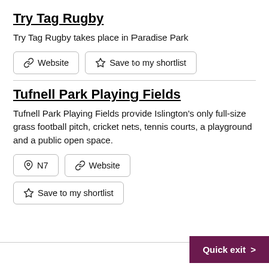Try Tag Rugby
Try Tag Rugby takes place in Paradise Park
Website
Save to my shortlist
Tufnell Park Playing Fields
Tufnell Park Playing Fields provide Islington's only full-size grass football pitch, cricket nets, tennis courts, a playground and a public open space.
N7
Website
Save to my shortlist
Quick exit >